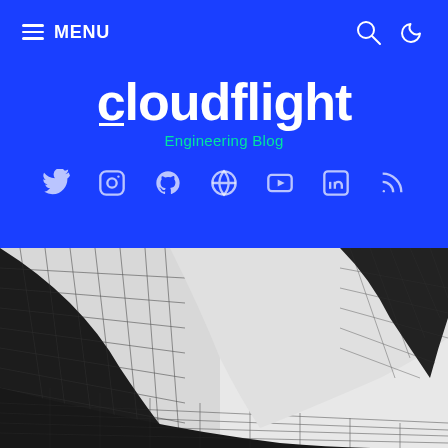MENU — navigation bar with search and dark mode icons
cloudflight Engineering Blog
[Figure (infographic): Social media icons row: Twitter, Instagram, GitHub, Globe, YouTube, LinkedIn, RSS — displayed in white/translucent on blue background]
[Figure (photo): Close-up black and white architectural photo of a curved gridded building structure against a light grey sky]